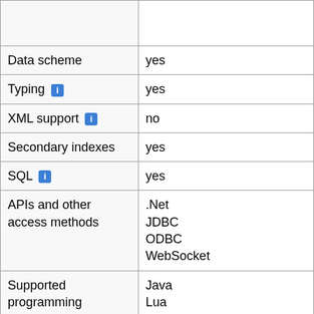| Feature | Value |
| --- | --- |
|  |  |
| Data scheme | yes |
| Typing [i] | yes |
| XML support [i] | no |
| Secondary indexes | yes |
| SQL [i] | yes |
| APIs and other access methods | .Net
JDBC
ODBC
WebSocket |
| Supported programming languages | Java
Lua
Python |